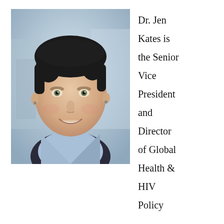[Figure (photo): Headshot of Dr. Jen Kates, a woman with short dark hair wearing a light blue collared shirt, smiling, with a blurred background]
Dr. Jen Kates is the Senior Vice President and Director of Global Health & HIV Policy
Henry J. Kaiser Family Foundation and oversees KFF's policy analysis and research focused on the U.S.